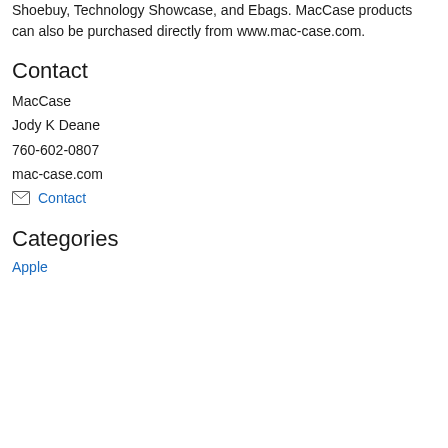Shoebuy, Technology Showcase, and Ebags. MacCase products can also be purchased directly from www.mac-case.com.
Contact
MacCase
Jody K Deane
760-602-0807
mac-case.com
Contact
Categories
Apple